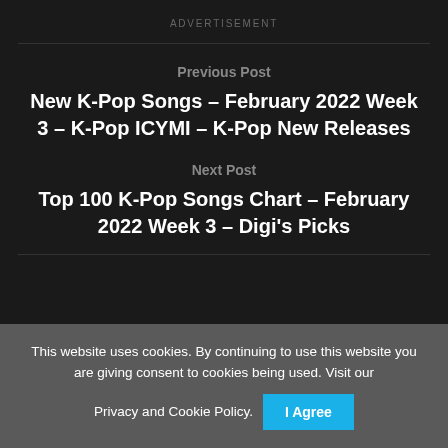ADVERTISEMENT
Previous Post
New K-Pop Songs – February 2022 Week 3 – K-Pop ICYMI – K-Pop New Releases
Next Post
Top 100 K-Pop Songs Chart – February 2022 Week 3 – Digi's Picks
This website uses cookies. By continuing to use this website you are giving consent to cookies being used. Visit our Privacy and Cookie Policy.